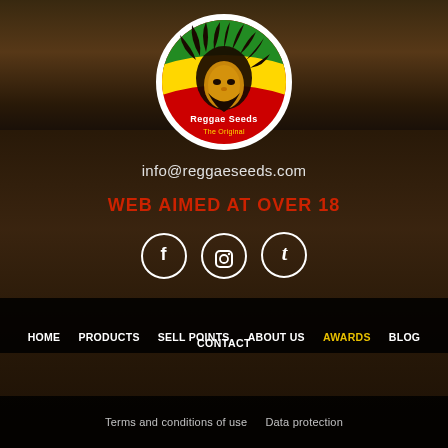[Figure (logo): Reggae Seeds The Original logo — circular badge with Rastafarian lion silhouette in red, yellow and green, white border, text 'Reggae Seeds The Original']
info@reggaeseeds.com
WEB AIMED AT OVER 18
[Figure (infographic): Three circular social media icons: Facebook (f), Instagram (camera), Tumblr (t)]
HOME   PRODUCTS   SELL POINTS   ABOUT US   AWARDS   BLOG
CONTACT
Terms and conditions of use   Data protection